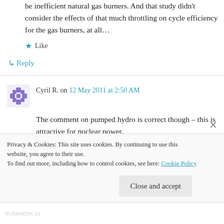be inefficient natural gas burners. And that study didn't consider the effects of that much throttling on cycle efficiency for the gas burners, at all…
★ Like
↳ Reply
Cyril R. on 12 May 2011 at 2:50 AM
The comment on pumped hydro is correct though – this is attractive for nuclear power,
Privacy & Cookies: This site uses cookies. By continuing to use this website, you agree to their use.
To find out more, including how to control cookies, see here: Cookie Policy